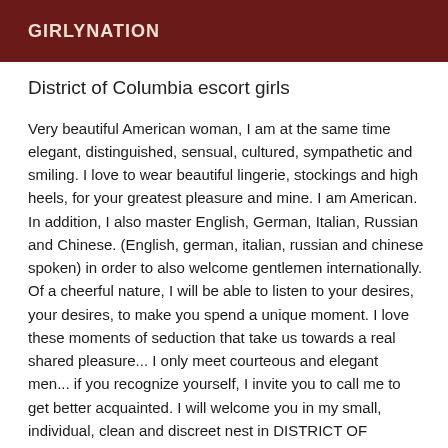GIRLYNATION
District of Columbia escort girls
Very beautiful American woman, I am at the same time elegant, distinguished, sensual, cultured, sympathetic and smiling. I love to wear beautiful lingerie, stockings and high heels, for your greatest pleasure and mine. I am American. In addition, I also master English, German, Italian, Russian and Chinese. (English, german, italian, russian and chinese spoken) in order to also welcome gentlemen internationally. Of a cheerful nature, I will be able to listen to your desires, your desires, to make you spend a unique moment. I love these moments of seduction that take us towards a real shared pleasure... I only meet courteous and elegant men... if you recognize yourself, I invite you to call me to get better acquainted. I will welcome you in my small, individual, clean and discreet nest in DISTRICT OF COLUMBIA. I will receive you dressed, made up,